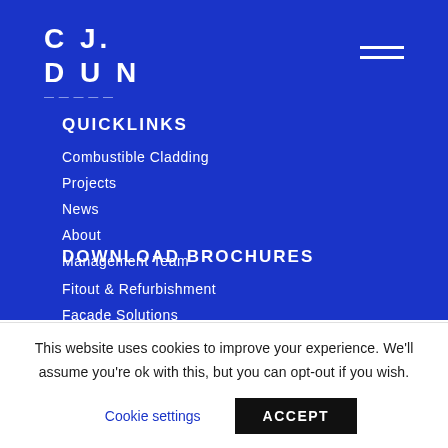CJ. DUN
QUICKLINKS
Combustible Cladding
Projects
News
About
Management Team
DOWNLOAD BROCHURES
Fitout & Refurbishment
Facade Solutions
Remedial Solutions
This website uses cookies to improve your experience. We'll assume you're ok with this, but you can opt-out if you wish.
Cookie settings
ACCEPT